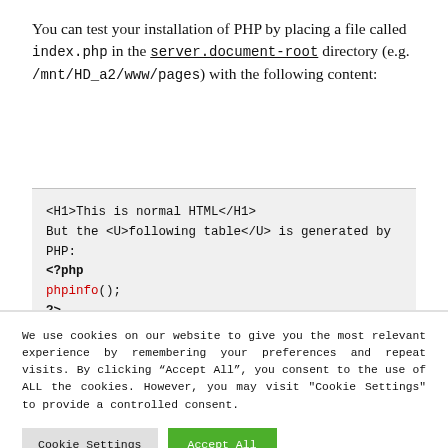You can test your installation of PHP by placing a file called index.php in the server.document-root directory (e.g. /mnt/HD_a2/www/pages) with the following content:
<H1>This is normal HTML</H1>
But the <U>following table</U> is generated by PHP:
<?php
phpinfo();
?>
We use cookies on our website to give you the most relevant experience by remembering your preferences and repeat visits. By clicking “Accept All”, you consent to the use of ALL the cookies. However, you may visit "Cookie Settings" to provide a controlled consent.